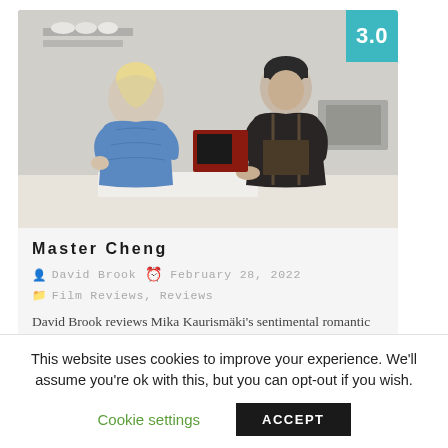[Figure (photo): Movie still from Master Cheng showing a woman in a blue cardigan and a man in chef's black clothing standing in a kitchen. A teal rating badge showing '3.0' is in the top-right corner.]
Master Cheng
David Brook  February 28, 2022
Film Reviews, Reviews
David Brook reviews Mika Kaurismäki's sentimental romantic drama, which is screening in UK cinemas this month.
This website uses cookies to improve your experience. We'll assume you're ok with this, but you can opt-out if you wish.
Cookie settings   ACCEPT